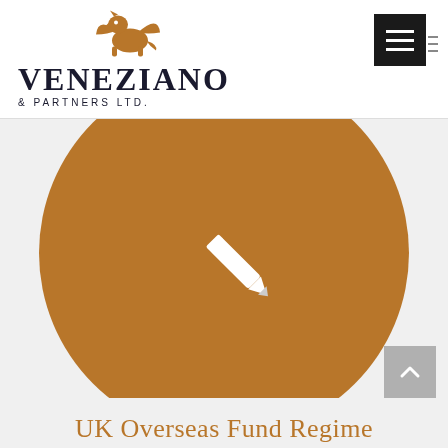[Figure (logo): Veneziano & Partners Ltd. logo with golden griffin above the company name in dark serif font, with '& PARTNERS LTD.' in small caps beneath]
[Figure (illustration): Large brown/tan circle with a white pencil icon in the center, on a light gray background]
UK Overseas Fund Regime